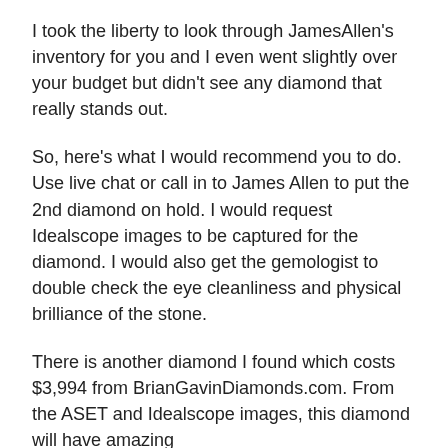I took the liberty to look through JamesAllen's inventory for you and I even went slightly over your budget but didn't see any diamond that really stands out.
So, here's what I would recommend you to do. Use live chat or call in to James Allen to put the 2nd diamond on hold. I would request Idealscope images to be captured for the diamond. I would also get the gemologist to double check the eye cleanliness and physical brilliance of the stone.
There is another diamond I found which costs $3,994 from BrianGavinDiamonds.com. From the ASET and Idealscope images, this diamond will have amazing